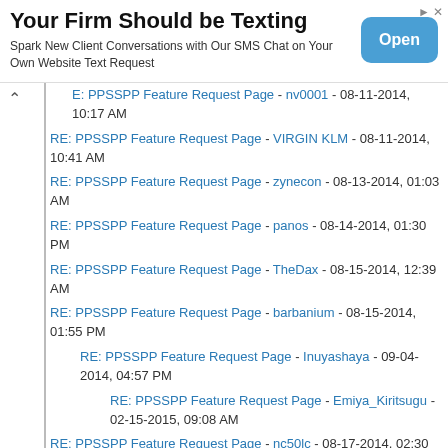[Figure (screenshot): Advertisement banner: 'Your Firm Should be Texting' with subtitle 'Spark New Client Conversations with Our SMS Chat on Your Own Website Text Request' and an 'Open' button]
E: PPSSPP Feature Request Page - nv0001 - 08-11-2014, 10:17 AM
RE: PPSSPP Feature Request Page - VIRGIN KLM - 08-11-2014, 10:41 AM
RE: PPSSPP Feature Request Page - zynecon - 08-13-2014, 01:03 AM
RE: PPSSPP Feature Request Page - panos - 08-14-2014, 01:30 PM
RE: PPSSPP Feature Request Page - TheDax - 08-15-2014, 12:39 AM
RE: PPSSPP Feature Request Page - barbanium - 08-15-2014, 01:55 PM
RE: PPSSPP Feature Request Page - Inuyashaya - 09-04-2014, 04:57 PM
RE: PPSSPP Feature Request Page - Emiya_Kiritsugu - 02-15-2015, 09:08 AM
RE: PPSSPP Feature Request Page - nc50lc - 08-17-2014, 02:30 PM
RE: PPSSPP Feature Request Page - silenthill4 - 08-22-2014, 03:47 AM
RE: PPSSPP Feature Request Page - redawgts - 08-23-2014, 01:12 AM
RE: PPSSPP Feature Request Page - FR0Z3NH0P3 - 08-23-2014, 02:00 AM
RE: PPSSPP Feature Request Page - (partially visible)